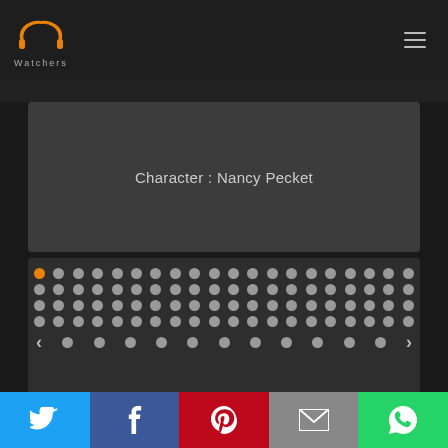PP Watchers - Header with logo and navigation
[Figure (screenshot): Character card showing 'Character : Nancy Pecket' text on dark gray background]
[Figure (infographic): Dot pagination grid with orange first dot and gray dots in rows, with left/right navigation arrows]
[Figure (infographic): Social sharing bar with Twitter, Facebook, Pinterest, Email, and WhatsApp buttons]